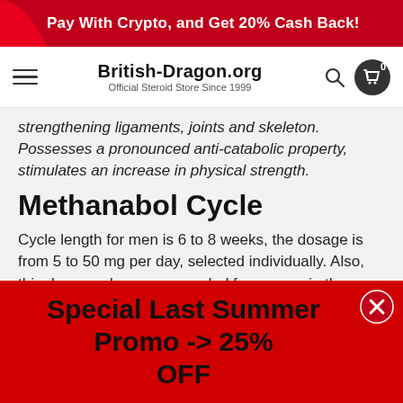Pay With Crypto, and Get 20% Cash Back!
British-Dragon.org
Official Steroid Store Since 1999
strengthening ligaments, joints and skeleton. Possesses a pronounced anti-catabolic property, stimulates an increase in physical strength.
Methanabol Cycle
Cycle length for men is 6 to 8 weeks, the dosage is from 5 to 50 mg per day, selected individually. Also, this drug can be recommended for women in the amount of 2 - 5 mg daily, no more, to avoid the effect of virilization. It is better to divide the daily dose into
Special Last Summer Promo -> 25% OFF